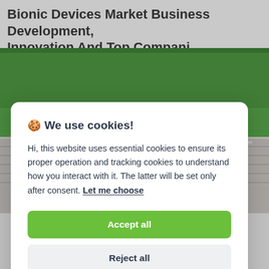Bionic Devices Market Business Development, Innovation And Top Compani…
[Figure (photo): Photograph showing a sports track with green artificial turf, grey lane markings, and a runner's red shoe visible at the bottom center.]
🍪 We use cookies!
Hi, this website uses essential cookies to ensure its proper operation and tracking cookies to understand how you interact with it. The latter will be set only after consent. Let me choose
Accept all
Reject all